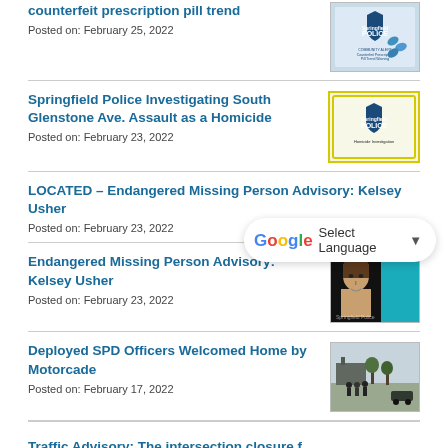counterfeit prescription pill trend
Posted on: February 25, 2022
Springfield Police Investigating South Glenstone Ave. Assault as a Homicide
Posted on: February 23, 2022
LOCATED – Endangered Missing Person Advisory: Kelsey Usher
Posted on: February 23, 2022
Endangered Missing Person Advisory: Kelsey Usher
Posted on: February 23, 2022
Deployed SPD Officers Welcomed Home by Motorcade
Posted on: February 17, 2022
Traffic Advisory: The intersection closure f…